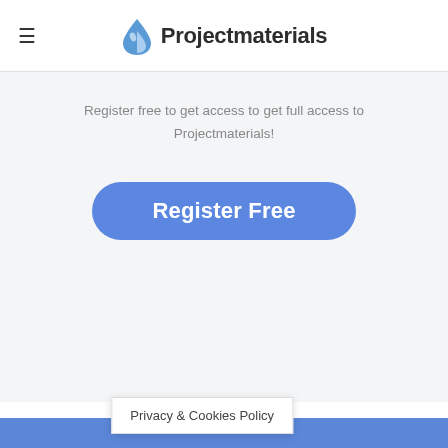≡  Projectmaterials
Register free to get access to get full access to Projectmaterials!
[Figure (other): Blue rounded button with white text reading 'Register Free']
Privacy & Cookies Policy